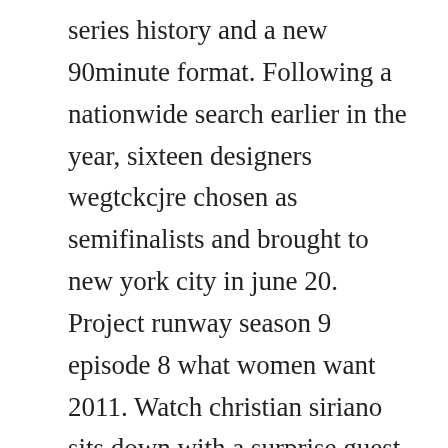series history and a new 90minute format. Following a nationwide search earlier in the year, sixteen designers wegtckcjre chosen as semifinalists and brought to new york city in june 20. Project runway season 9 episode 8 what women want 2011. Watch christian siriano sits down with a surprise guest in. Project runway season 18 episode 14 finale part 2 full by nayl. Project runway season 2 was the second season of bravos successful project runway, a reality competition for fashion designers. Your first look at part 2 of